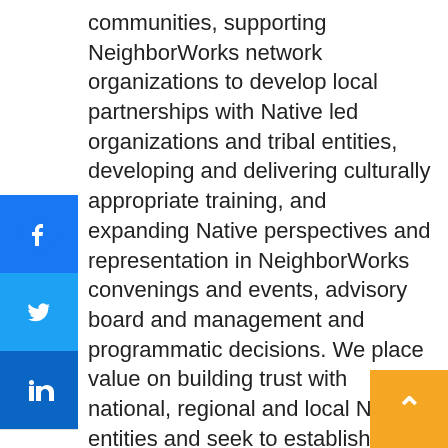communities, supporting NeighborWorks network organizations to develop local partnerships with Native led organizations and tribal entities, developing and delivering culturally appropriate training, and expanding Native perspectives and representation in NeighborWorks convenings and events, advisory board and management and programmatic decisions. We place value on building trust with national, regional and local Native entities and seek to establish shared goals that demonstrate an understanding of sovereignty and build on existing capacity in Native communities.
Position Summary:
The Director, Native American Partnerships lead the corporate wide planning and